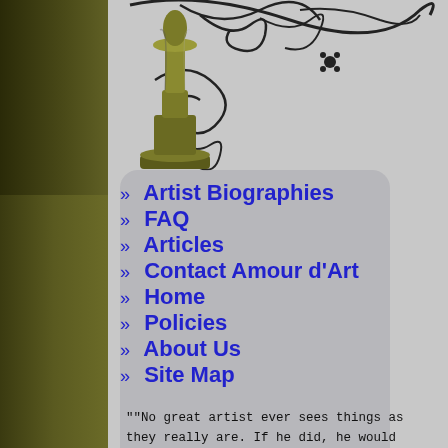[Figure (illustration): Decorative chess piece (dark olive/bronze column piece) with black swirling floral/vine decorations on a gray background, occupying the upper portion of the page above the navigation menu. Left sidebar is dark olive/green gradient.]
>> Artist Biographies
>> FAQ
>> Articles
>> Contact Amour d'Art
>> Home
>> Policies
>> About Us
>> Site Map
""No great artist ever sees things as they really are. If he did, he would